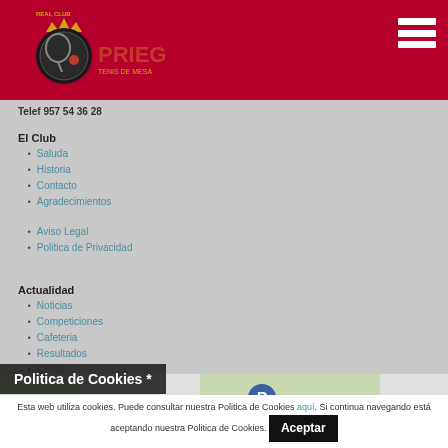Real Club Priego Tenis de Mesa - Header with logo and hamburger menu
Telef 957 54 36 28
El Club
Saluda
Historia
Contacto
Agradecimientos
Aviso Legal
Politica de Privacidad
Actualidad
Noticias
Competiciones
Cafeteria
Resultados
CETD
Politica de Coockies
[Figure (map): Google Maps style street map showing a location with a blue P parking marker and a red location pin]
Politica de Cookies *
Esta web utiliza cookies. Puede consultar nuestra Politica de Cookies aqui. Si continua navegando está aceptando nuestra Politica de Cookies. Aceptar